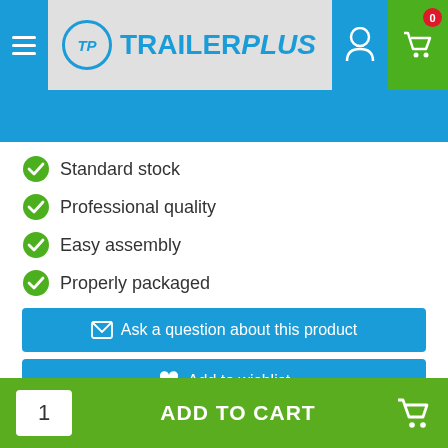TrailerPlus — navigation header with hamburger menu, logo, user icon, and cart (0)
Standard stock
Professional quality
Easy assembly
Properly packaged
Ask a question about this product
Add to wishlist
Reviews
TrailerPlus would like to know your opinion about Chassis
1 ADD TO CART